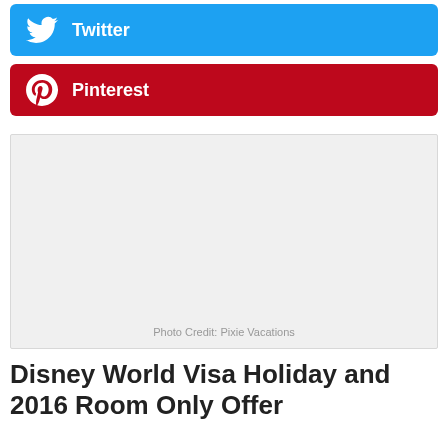[Figure (other): Twitter social share button with bird icon, blue background]
[Figure (other): Pinterest social share button with P icon, red background]
[Figure (photo): Placeholder image with light gray background and photo credit text reading: Photo Credit: Pixie Vacations]
Photo Credit: Pixie Vacations
Disney World Visa Holiday and 2016 Room Only Offer